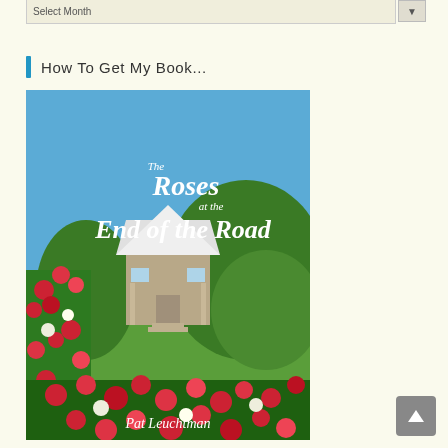Select Month
How To Get My Book...
[Figure (photo): Book cover of 'The Roses at the End of the Road' by Pat Leuchtman. Shows a small wooden cottage with a white roof surrounded by red and pink roses in a garden with green lawn and blue sky. The title text is written in white cursive script on the blue sky portion.]